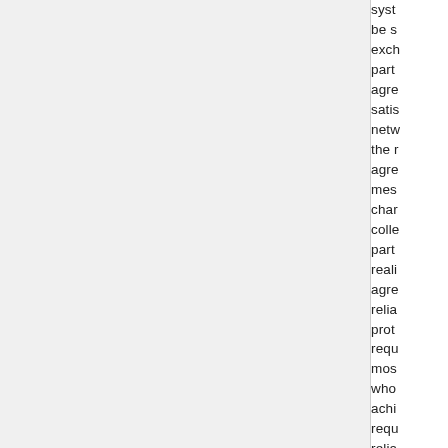system be shared, exchanged, partially agreed, satisfying network the messaging charges, collections partially realizing agreed reliability protocol requirements, most whose achieving requirements reliability process system